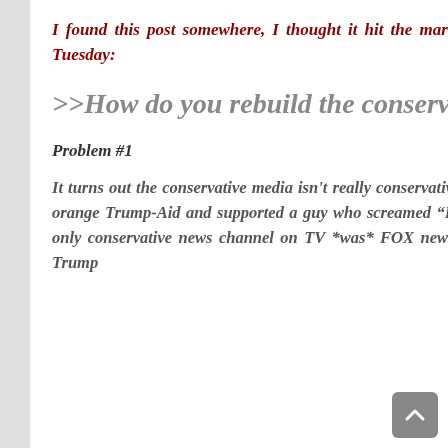I found this post somewhere, I thought it hit the mark concerning some other things we learned last Tuesday:
>>How do you rebuild the conservative movement?
Problem #1
It turns out the conservative media isn't really conservative. About 80% of the conservative media drank the orange Trump-Aid and supported a guy who screamed "Bush lied people died" at a republican debate. The only conservative news channel on TV *was* FOX news, which has become the propaganda arm for the Trump